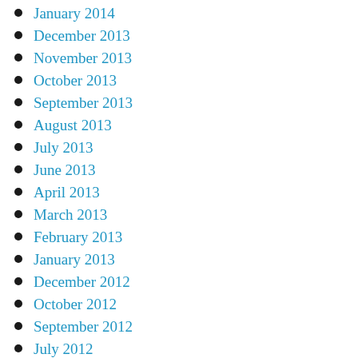January 2014
December 2013
November 2013
October 2013
September 2013
August 2013
July 2013
June 2013
April 2013
March 2013
February 2013
January 2013
December 2012
October 2012
September 2012
July 2012